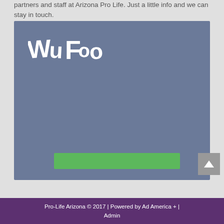partners and staff at Arizona Pro Life. Just a little info and we can stay in touch.
[Figure (screenshot): Wufoo embedded form widget with blue-grey background, Wufoo logo in white at top left, and a green submit button at the bottom]
Pro-Life Arizona © 2017 | Powered by Ad America + | Admin